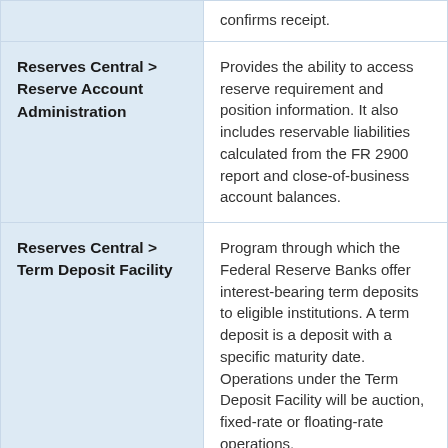| Term | Description |
| --- | --- |
|  | confirms receipt. |
| Reserves Central > Reserve Account Administration | Provides the ability to access reserve requirement and position information. It also includes reservable liabilities calculated from the FR 2900 report and close-of-business account balances. |
| Reserves Central > Term Deposit Facility | Program through which the Federal Reserve Banks offer interest-bearing term deposits to eligible institutions. A term deposit is a deposit with a specific maturity date. Operations under the Term Deposit Facility will be auction, fixed-rate or floating-rate operations. |